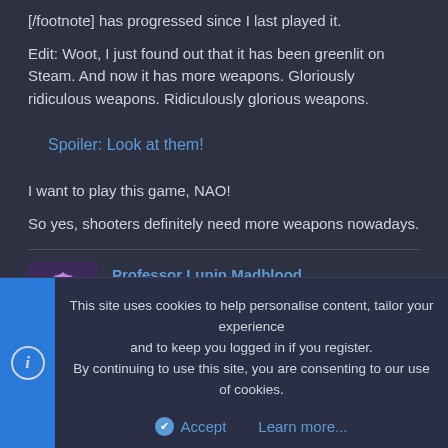[/footnote] has progressed since I last played it.
Edit: Woot, I just found out that it has been greenlit on Steam. And now it has more weapons. Gloriously ridiculous weapons. Ridiculously glorious weapons.
Spoiler: Look at them!
I want to play this game, NAO!
So yes, shooters definitely need more weapons nowadays.
Professor Lupin Madblood
New member
This site uses cookies to help personalise content, tailor your experience and to keep you logged in if you register.
By continuing to use this site, you are consenting to our use of cookies.
Accept    Learn more...